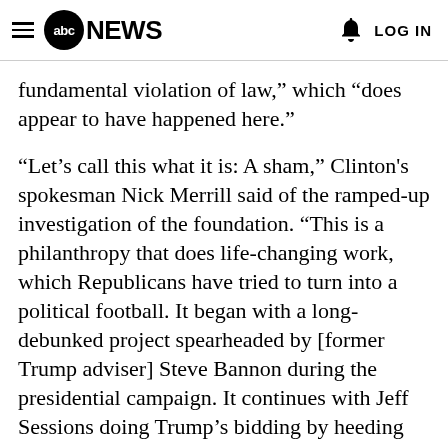abc NEWS  LOG IN
fundamental violation of law,” which “does appear to have happened here.”
“Let’s call this what it is: A sham,” Clinton’s spokesman Nick Merrill said of the ramped-up investigation of the foundation. “This is a philanthropy that does life-changing work, which Republicans have tried to turn into a political football. It began with a long-debunked project spearheaded by [former Trump adviser] Steve Bannon during the presidential campaign. It continues with Jeff Sessions doing Trump’s bidding by heeding his calls to meddle with a department that is